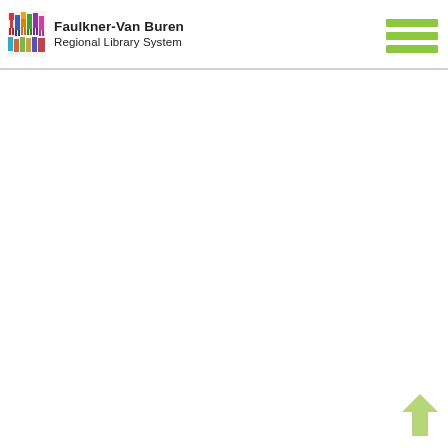Faulkner-Van Buren Regional Library System
[Figure (logo): Faulkner-Van Buren Regional Library System logo with colorful pixelated people illustration and text, plus green hamburger menu icon in top right]
[Figure (other): Light green upward arrow icon in bottom right corner]